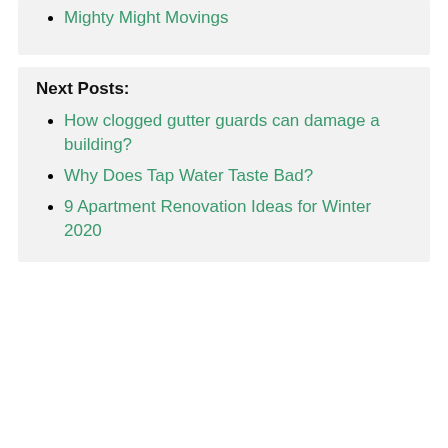Mighty Might Movings
Next Posts:
How clogged gutter guards can damage a building?
Why Does Tap Water Taste Bad?
9 Apartment Renovation Ideas for Winter 2020